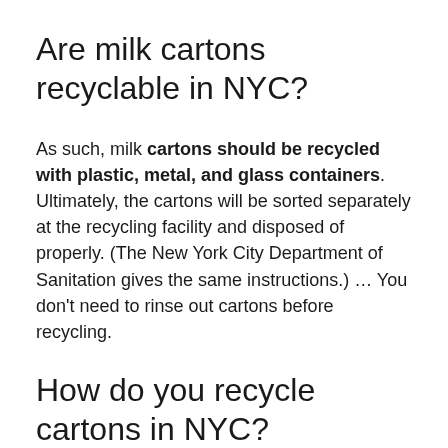Are milk cartons recyclable in NYC?
As such, milk cartons should be recycled with plastic, metal, and glass containers. Ultimately, the cartons will be sorted separately at the recycling facility and disposed of properly. (The New York City Department of Sanitation gives the same instructions.) … You don't need to rinse out cartons before recycling.
How do you recycle cartons in NYC?
Metal, glass, plastic and cartons go together,